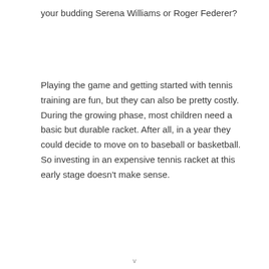your budding Serena Williams or Roger Federer?
Playing the game and getting started with tennis training are fun, but they can also be pretty costly. During the growing phase, most children need a basic but durable racket. After all, in a year they could decide to move on to baseball or basketball. So investing in an expensive tennis racket at this early stage doesn't make sense.
v